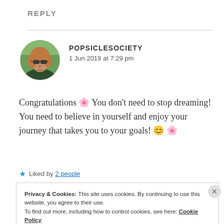REPLY
[Figure (photo): Circular avatar photo of a woman with reddish-blonde hair wearing sunglasses and a dark jacket, in an outdoor setting with green foliage.]
POPSICLESOCIETY
1 Jun 2019 at 7:29 pm
Congratulations 🌸 You don’t need to stop dreaming! You need to believe in yourself and enjoy your journey that takes you to your goals! 😊 🌸
★ Liked by 2 people
Privacy & Cookies: This site uses cookies. By continuing to use this website, you agree to their use.
To find out more, including how to control cookies, see here: Cookie Policy
Close and accept